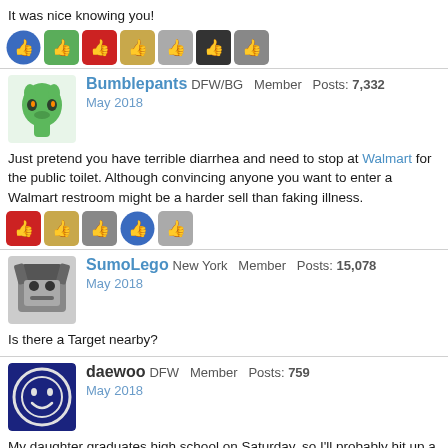It was nice knowing you!
[Figure (other): Row of 7 reaction/like emoji icons]
Bumblepants DFW/BG  Member  Posts: 7,332
May 2018
Just pretend you have terrible diarrhea and need to stop at Walmart for the public toilet. Although convincing anyone you want to enter a Walmart restroom might be a harder sell than faking illness.
[Figure (other): Row of 5 reaction/like emoji icons]
SumoLego New York  Member  Posts: 15,078
May 2018
Is there a Target nearby?
daewoo DFW  Member  Posts: 759
May 2018
My daughter graduates high school on Saturday, so I'll probably hit up a few Walmarts on the way down and back.  I live in Dallas and her graduation is in San Marcos.